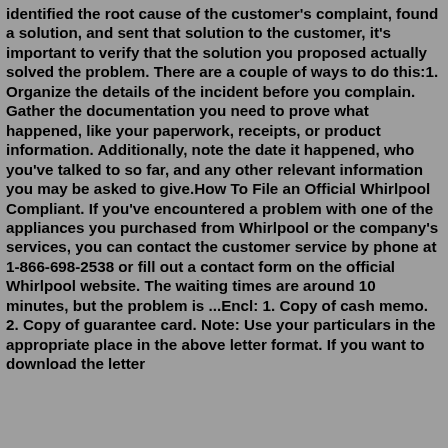identified the root cause of the customer's complaint, found a solution, and sent that solution to the customer, it's important to verify that the solution you proposed actually solved the problem. There are a couple of ways to do this:1. Organize the details of the incident before you complain. Gather the documentation you need to prove what happened, like your paperwork, receipts, or product information. Additionally, note the date it happened, who you've talked to so far, and any other relevant information you may be asked to give.How To File an Official Whirlpool Compliant. If you've encountered a problem with one of the appliances you purchased from Whirlpool or the company's services, you can contact the customer service by phone at 1-866-698-2538 or fill out a contact form on the official Whirlpool website. The waiting times are around 10 minutes, but the problem is ...Encl: 1. Copy of cash memo. 2. Copy of guarantee card. Note: Use your particulars in the appropriate place in the above letter format. If you want to download the letter...